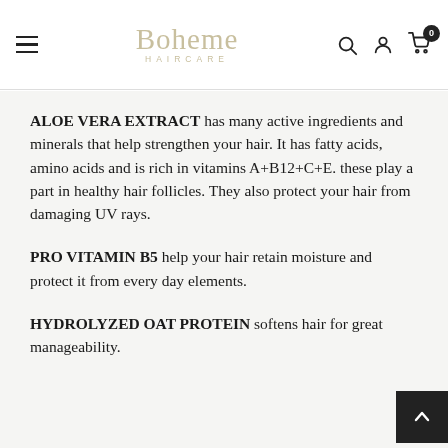Boheme Haircare — navigation header with hamburger menu, logo, search, account, and cart (0 items)
ALOE VERA EXTRACT has many active ingredients and minerals that help strengthen your hair. It has fatty acids, amino acids and is rich in vitamins A+B12+C+E. these play a part in healthy hair follicles. They also protect your hair from damaging UV rays.
PRO VITAMIN B5 help your hair retain moisture and protect it from every day elements.
HYDROLYZED OAT PROTEIN softens hair for great manageability.